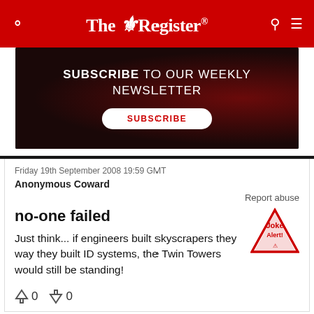The Register
[Figure (other): Subscribe to our weekly newsletter banner with dark background and red glow pattern. Shows 'SUBSCRIBE TO OUR WEEKLY NEWSLETTER' with a white subscribe button.]
Friday 19th September 2008 19:59 GMT
Anonymous Coward
Report abuse
no-one failed
Just think... if engineers built skyscrapers they way they built ID systems, the Twin Towers would still be standing!
↑0  ↓0
Sunday 21st September 2008 08:41 GMT
Patrick O'Reilly